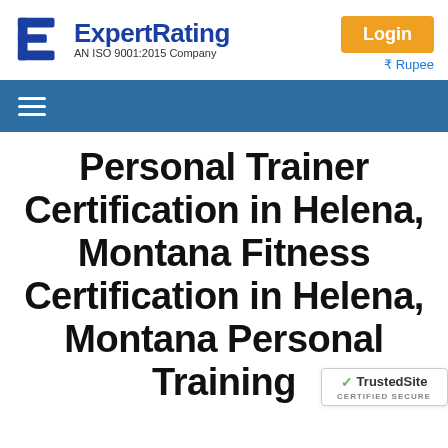[Figure (logo): ExpertRating logo with blue stylized E icon and text 'ExpertRating AN ISO 9001:2015 Company']
Login
₹ Rupee
[Figure (screenshot): Blue navigation bar with hamburger menu icon]
Personal Trainer Certification in Helena, Montana Fitness Certification in Helena, Montana Personal Training